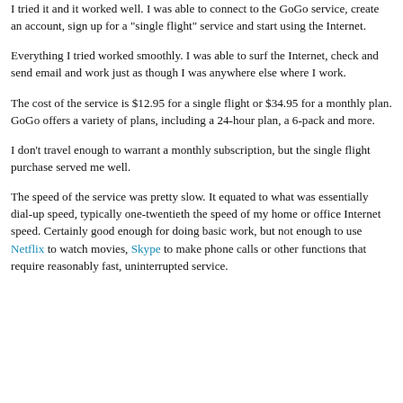I tried it and it worked well. I was able to connect to the GoGo service, create an account, sign up for a "single flight" service and start using the Internet.
Everything I tried worked smoothly. I was able to surf the Internet, check and send email and work just as though I was anywhere else where I work.
The cost of the service is $12.95 for a single flight or $34.95 for a monthly plan. GoGo offers a variety of plans, including a 24-hour plan, a 6-pack and more.
I don't travel enough to warrant a monthly subscription, but the single flight purchase served me well.
The speed of the service was pretty slow. It equated to what was essentially dial-up speed, typically one-twentieth the speed of my home or office Internet speed. Certainly good enough for doing basic work, but not enough to use Netflix to watch movies, Skype to make phone calls or other functions that require reasonably fast, uninterrupted service.